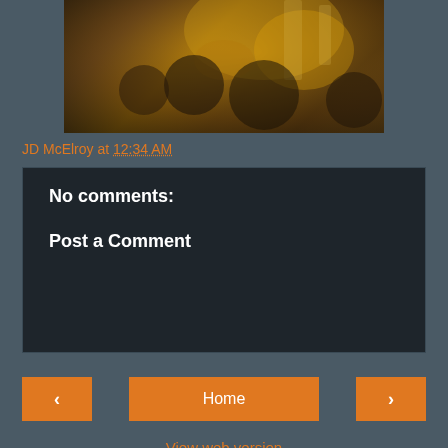[Figure (photo): Blurry nighttime crowd scene with warm orange/golden lighting and flags or banners visible in the background]
JD McElroy at 12:34 AM
No comments:
Post a Comment
Home
View web version
Powered by Blogger.